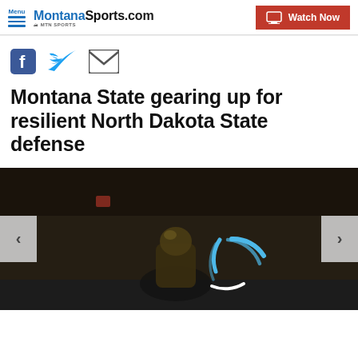MontanaSports.com powered by MTN SPORTS — Watch Now
[Figure (logo): MontanaSports.com logo powered by MTN Sports]
[Figure (other): Social share icons: Facebook, Twitter, Email]
Montana State gearing up for resilient North Dakota State defense
[Figure (photo): Dark football game scene with loading spinner overlay, navigation arrows on sides]